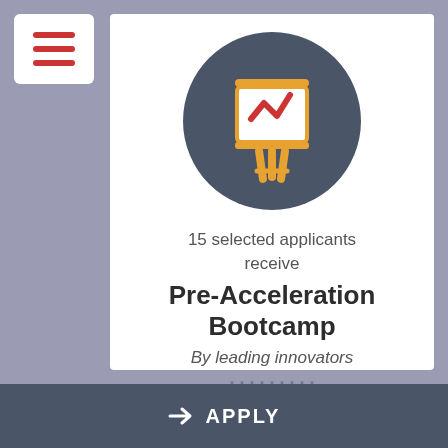[Figure (illustration): Hamburger menu icon with three red horizontal lines on a white rounded square background, top-left corner]
[Figure (illustration): An easel/presentation board icon inside a dark slate-blue circle. The board has a red checkmark/zigzag drawn on it, with a yellow frame and yellow easel legs.]
15 selected applicants receive
Pre-Acceleration Bootcamp
By leading innovators
APPLY